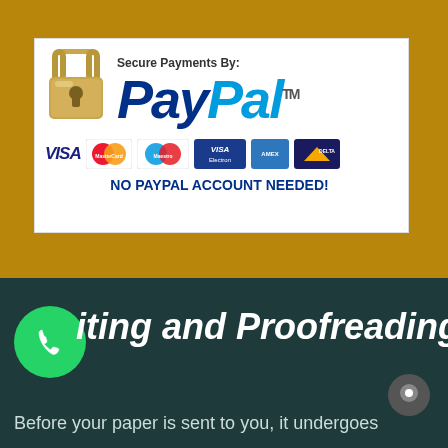[Figure (logo): PayPal secure payments banner with lock icon, PayPal logo, credit card logos (VISA, MasterCard, Maestro, VISA Electron, American Express, Delta), and text 'NO PAYPAL ACCOUNT NEEDED!']
iting and Proofreading
Before your paper is sent to you, it undergoes